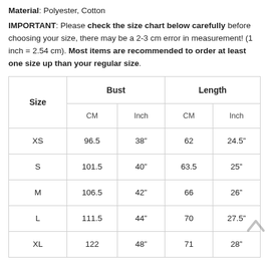Material: Polyester, Cotton
IMPORTANT: Please check the size chart below carefully before choosing your size, there may be a 2-3 cm error in measurement! (1 inch = 2.54 cm). Most items are recommended to order at least one size up than your regular size.
| Size | Bust CM | Bust Inch | Length CM | Length Inch |
| --- | --- | --- | --- | --- |
| XS | 96.5 | 38” | 62 | 24.5” |
| S | 101.5 | 40” | 63.5 | 25” |
| M | 106.5 | 42” | 66 | 26” |
| L | 111.5 | 44” | 70 | 27.5” |
| XL | 122 | 48” | 71 | 28” |